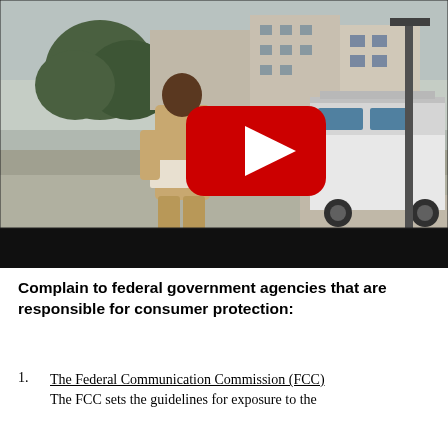[Figure (photo): A video thumbnail showing a person in a tan/khaki uniform standing on a sidewalk looking at papers, with a white van and residential buildings in the background. A large YouTube play button (red rounded rectangle with white triangle) is overlaid in the center.]
Complain to federal government agencies that are responsible for consumer protection:
The Federal Communication Commission (FCC) The FCC sets the guidelines for exposure to the